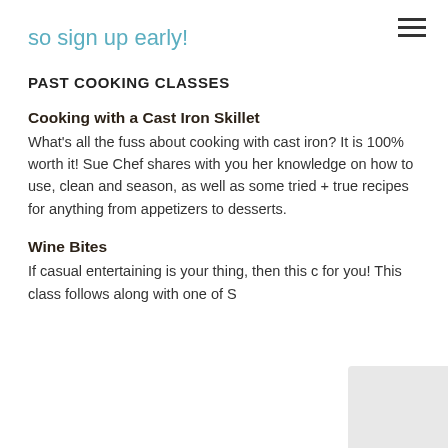so sign up early!
PAST COOKING CLASSES
Cooking with a Cast Iron Skillet
What's all the fuss about cooking with cast iron? It is 100% worth it! Sue Chef shares with you her knowledge on how to use, clean and season, as well as some tried + true recipes for anything from appetizers to desserts.
Wine Bites
If casual entertaining is your thing, then this c for you! This class follows along with one of S